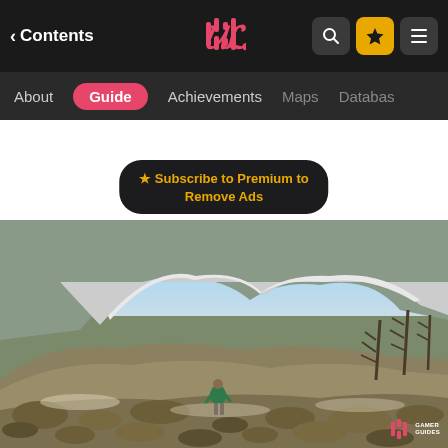Contents
[Figure (screenshot): Navigation bar with back arrow, Contents label, stylized logo in center, search icon, star/premium icon, hamburger menu icon on dark background]
About  Guide  Achievements  Maps  Database
★ Subscribe to Premium to Remove Ads
[Figure (photo): Screenshot from a video game showing a character in a green shirt walking up a rocky hillside with sparse dry vegetation and snow-capped cliffs in the background under a bright blue sky. Gamer Guides watermark in bottom right corner.]